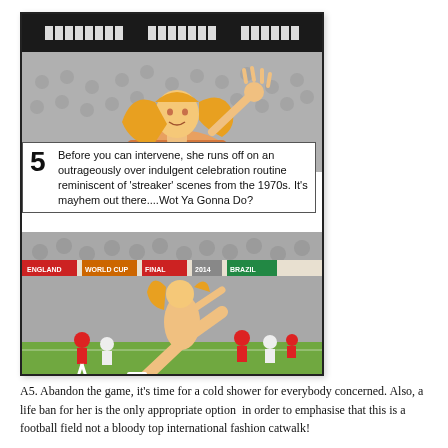[Figure (illustration): Comic-style illustration card showing a blonde woman streaker running across a football field. Top black scoreboard header with pixel-block numbers. Upper half shows the woman waving with flowing hair. Caption box with number 5 reads: 'Before you can intervene, she runs off on an outrageously over indulgent celebration routine reminiscent of streaker scenes from the 1970s. It's mayhem out there....Wot Ya Gonna Do?' Lower half shows the woman running nude across a football pitch with players in red and white kits.]
A5. Abandon the game, it's time for a cold shower for everybody concerned. Also, a life ban for her is the only appropriate option  in order to emphasise that this is a football field not a bloody top international fashion catwalk!